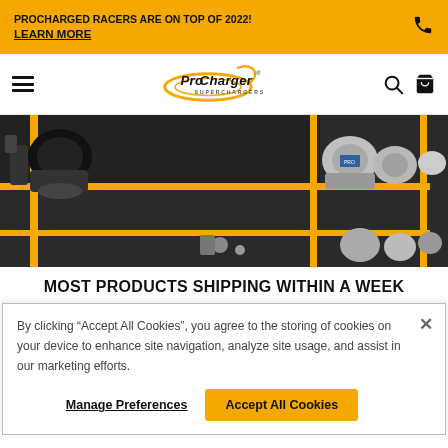PROCHARGED RACERS ARE ON TOP OF 2022! LEARN MORE
[Figure (logo): ProCharger Superchargers logo with stylized swoosh]
[Figure (photo): Warehouse shelf with yellow frame holding ProCharger supercharger units and parts in silver/chrome finish]
MOST PRODUCTS SHIPPING WITHIN A WEEK
By clicking “Accept All Cookies”, you agree to the storing of cookies on your device to enhance site navigation, analyze site usage, and assist in our marketing efforts.
Manage Preferences | Accept All Cookies